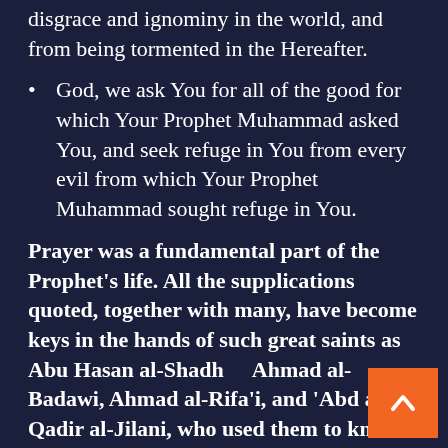disgrace and ignominy in the world, and from being tormented in the Hereafter.
God, we ask You for all of the good for which Your Prophet Muhammad asked You, and seek refuge in You from every evil from which Your Prophet Muhammad sought refuge in You.
Prayer was a fundamental part of the Prophet's life. All the supplications quoted, together with many, have become keys in the hands of such great saints as Abu Hasan al-Shadh... Ahmad al-Badawi, Ahmad al-Rifa'i, and 'Abd al-Qadir al-Jilani, who used them to knock on the door of God's